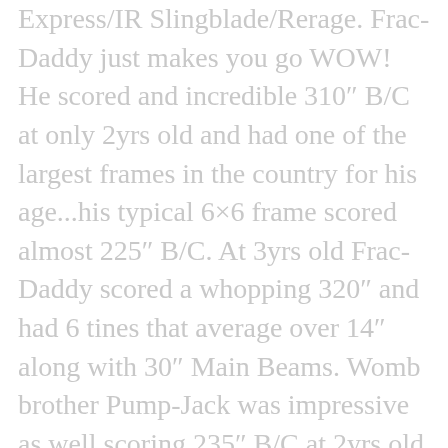Express/IR Slingblade/Rerage. Frac-Daddy just makes you go WOW! He scored and incredible 310″ B/C at only 2yrs old and had one of the largest frames in the country for his age...his typical 6×6 frame scored almost 225″ B/C. At 3yrs old Frac-Daddy scored a whopping 320″ and had 6 tines that average over 14″ along with 30″ Main Beams. Womb brother Pump-Jack was impressive as well scoring 235″ B/C at 2yrs old with an inside spread just under 30″ and 250″ plus at 3 with an 8×7 typical main frame. He could end up being the largest net scoring typical 3yr